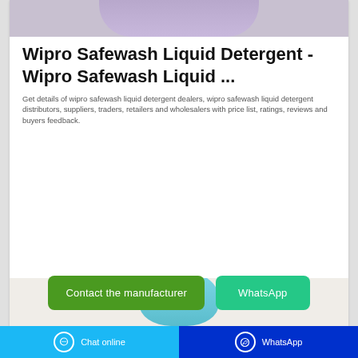[Figure (photo): Top portion of a Wipro Safewash liquid detergent product image with purple/lavender bottle cap visible]
Wipro Safewash Liquid Detergent - Wipro Safewash Liquid ...
Get details of wipro safewash liquid detergent dealers, wipro safewash liquid detergent distributors, suppliers, traders, retailers and wholesalers with price list, ratings, reviews and buyers feedback.
[Figure (other): Contact the manufacturer button (green) and WhatsApp button (teal/green)]
[Figure (photo): Bottom product image showing a blue/teal liquid detergent bottle on a light beige background]
Chat online   WhatsApp